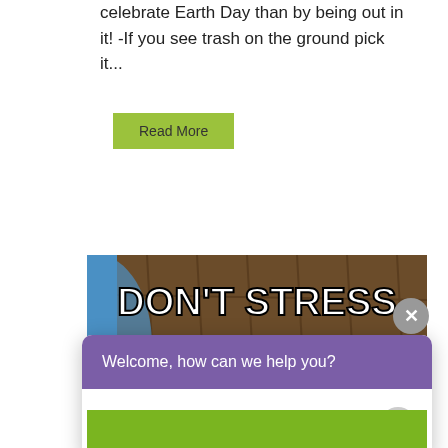celebrate Earth Day than by being out in it! -If you see trash on the ground pick it...
Read More
[Figure (photo): Meme image with text 'DON'T STRESS' over a brown/earthy background with yellow-green elements, partially obscured by a chat widget]
Welcome, how can we help you?
Write your message...